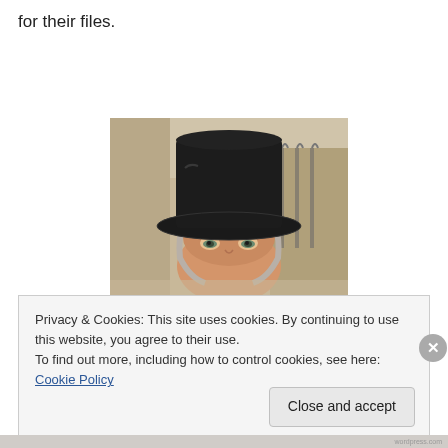for their files.
[Figure (photo): A person wearing a black top hat, photo taken indoors, face visible from eyes up, close-up selfie-style shot.]
Privacy & Cookies: This site uses cookies. By continuing to use this website, you agree to their use.
To find out more, including how to control cookies, see here: Cookie Policy
Close and accept